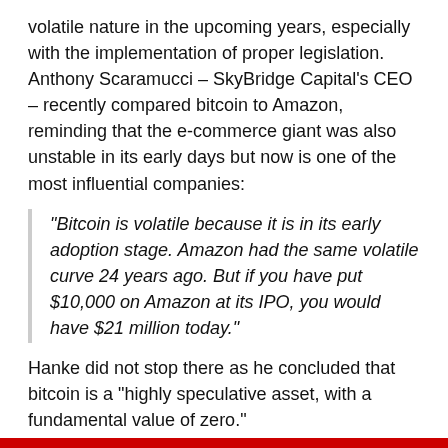volatile nature in the upcoming years, especially with the implementation of proper legislation. Anthony Scaramucci – SkyBridge Capital's CEO – recently compared bitcoin to Amazon, reminding that the e-commerce giant was also unstable in its early days but now is one of the most influential companies:
“Bitcoin is volatile because it is in its early adoption stage. Amazon had the same volatile curve 24 years ago. But if you have put $10,000 on Amazon at its IPO, you would have $21 million today.”
Hanke did not stop there as he concluded that bitcoin is a “highly speculative asset, with a fundamental value of zero.”
His words do have some merit here as bitcoin, just like almost every other investment, is a speculative